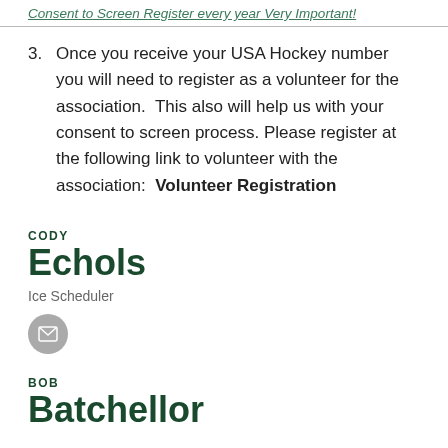Consent to Screen Register every year Very Important!
Once you receive your USA Hockey number you will need to register as a volunteer for the association. This also will help us with your consent to screen process. Please register at the following link to volunteer with the association: Volunteer Registration
CODY
Echols
Ice Scheduler
BOB
Batchellor